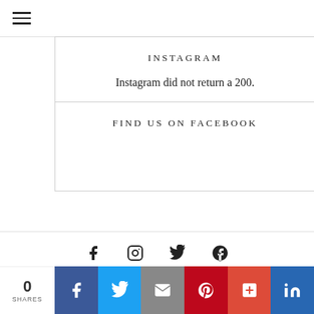[Figure (screenshot): Hamburger menu icon (three horizontal lines) in top navigation bar]
INSTAGRAM
Instagram did not return a 200.
FIND US ON FACEBOOK
[Figure (infographic): Social media icons row: Facebook (f), Instagram (circle camera), Twitter (bird), Google+ (G+)]
Sign Up for our Newsletter, and never miss an update.
0 SHARES — share bar with Facebook, Twitter, Email, Pinterest, More, LinkedIn buttons